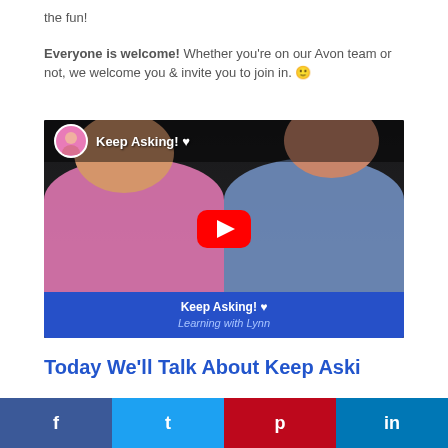the fun!
Everyone is welcome! Whether you're on our Avon team or not, we welcome you & invite you to join in. 🙂
[Figure (screenshot): YouTube video thumbnail showing two smiling women, one in pink and one in blue/purple. Video title overlay reads 'Keep Asking! ♥ Learning with Lynn'. Red YouTube play button in center. Blue banner at bottom with 'Keep Asking! ♥ Learning with Lynn'.]
Today We'll Talk About Keep Aski...
f  t  p  in (social share buttons: Facebook, Twitter, Pinterest, LinkedIn)